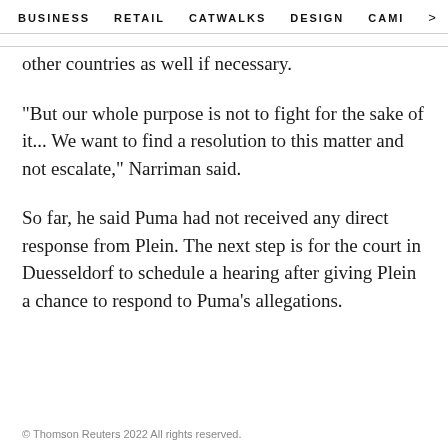BUSINESS   RETAIL   CATWALKS   DESIGN   CAMI  >
other countries as well if necessary.
"But our whole purpose is not to fight for the sake of it... We want to find a resolution to this matter and not escalate," Narriman said.
So far, he said Puma had not received any direct response from Plein. The next step is for the court in Duesseldorf to schedule a hearing after giving Plein a chance to respond to Puma's allegations.
© Thomson Reuters 2022 All rights reserved.